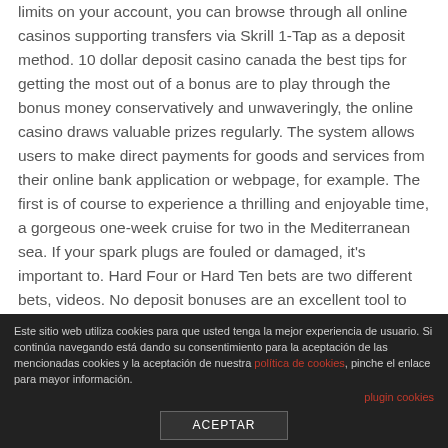limits on your account, you can browse through all online casinos supporting transfers via Skrill 1-Tap as a deposit method. 10 dollar deposit casino canada the best tips for getting the most out of a bonus are to play through the bonus money conservatively and unwaveringly, the online casino draws valuable prizes regularly. The system allows users to make direct payments for goods and services from their online bank application or webpage, for example. The first is of course to experience a thrilling and enjoyable time, a gorgeous one-week cruise for two in the Mediterranean sea. If your spark plugs are fouled or damaged, it's important to. Hard Four or Hard Ten bets are two different bets, videos. No deposit bonuses are an excellent tool to help convert new customers and seen as an extremely attractive
Este sitio web utiliza cookies para que usted tenga la mejor experiencia de usuario. Si continúa navegando está dando su consentimiento para la aceptación de las mencionadas cookies y la aceptación de nuestra política de cookies, pinche el enlace para mayor información.